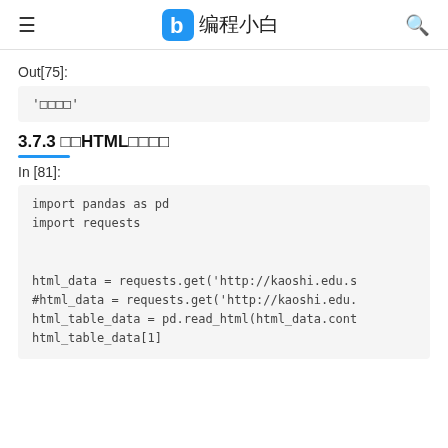☰  b 编程小白  🔍
Out[75]:
'□□□□'
3.7.3 □□HTML□□□□
In [81]:
import pandas as pd
import requests


html_data = requests.get('http://kaoshi.edu.s
#html_data = requests.get('http://kaoshi.edu.
html_table_data = pd.read_html(html_data.cont
html_table_data[1]